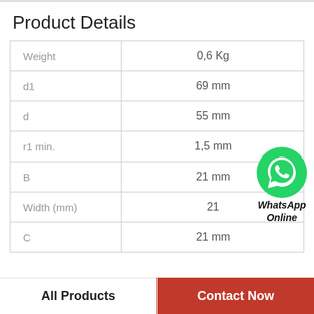Product Details
|  |  |
| --- | --- |
| Weight | 0,6 Kg |
| d1 | 69 mm |
| d | 55 mm |
| r1 min. | 1,5 mm |
| B | 21 mm |
| Width (mm) | 21 |
| C | 21 mm |
[Figure (logo): WhatsApp green icon with phone symbol and text WhatsApp Online]
All Products    Contact Now